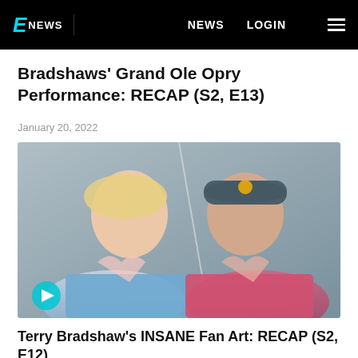E NEWS  NEWS  LOGIN
Bradshaws' Grand Ole Opry Performance: RECAP (S2, E13)
January 20, 2022
[Figure (photo): Two people making heart shapes with their hands. A blonde woman in a blue shirt on the left and an older man in a pink shirt wearing a navy baseball cap on the right. A play button icon is visible in the lower left corner of the image.]
Terry Bradshaw's INSANE Fan Art: RECAP (S2, E12)